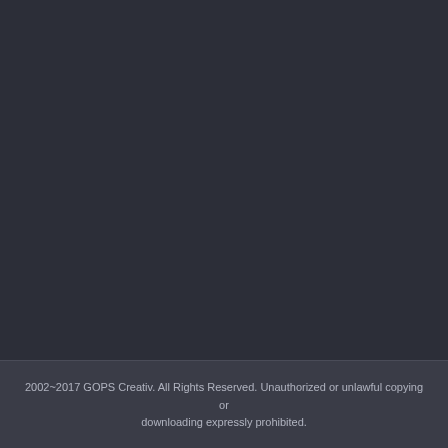2002~2017 GOPS Creativ. All Rights Reserved. Unauthorized or unlawful copying or downloading expressly prohibited.